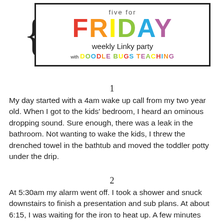[Figure (logo): Five for Friday weekly linky party with Doodle Bugs Teaching logo — colorful letters in bracket frame]
1
My day started with a 4am wake up call from my two year old. When I got to the kids' bedroom, I heard an ominous dropping sound. Sure enough, there was a leak in the bathroom. Not wanting to wake the kids, I threw the drenched towel in the bathtub and moved the toddler potty under the drip.
2
At 5:30am my alarm went off. I took a shower and snuck downstairs to finish a presentation and sub plans. At about 6:15, I was waiting for the iron to heat up. A few minutes